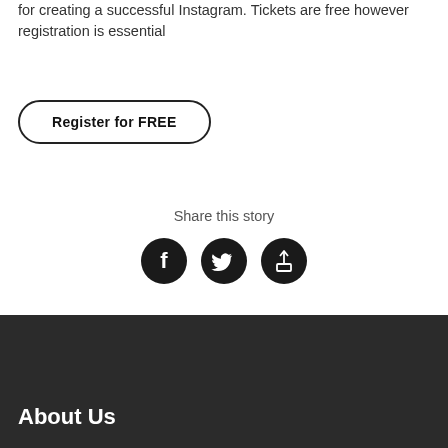for creating a successful Instagram. Tickets are free however registration is essential
Register for FREE
Share this story
[Figure (infographic): Three social sharing icon buttons: Facebook (f), Twitter (bird), and a share/upload icon, all white icons on black circular backgrounds]
About Us